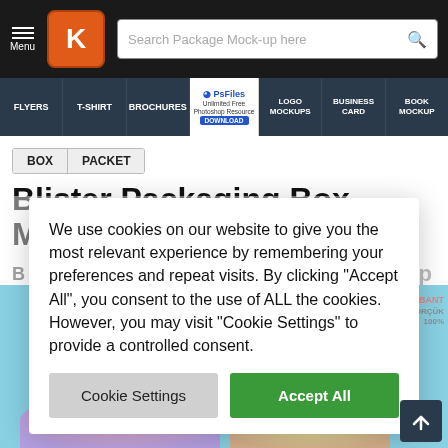Menu | K logo | Search Package Mock-up here
[Figure (screenshot): Navigation bar with categories: FLYERS, T-SHIRT, BROCHURES, PsFiles (Unlimited Free Photoshop Resource DOWNLOAD), LOGO MOCKUPS, BUSINESS CARD, BOOK MOCKUP]
BOX   PACKET
Blister Packaging Box Mockup
Blister Packaging Box Mockup
We use cookies on our website to give you the most relevant experience by remembering your preferences and repeat visits. By clicking "Accept All", you consent to the use of ALL the cookies. However, you may visit "Cookie Settings" to provide a controlled consent.
Cookie Settings   Accept All
[Figure (photo): Product packaging image on cyan/blue background, partially visible at bottom and right side of page]